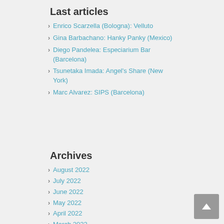Last articles
Enrico Scarzella (Bologna): Velluto
Gina Barbachano: Hanky Panky (Mexico)
Diego Pandelea: Especiarium Bar (Barcelona)
Tsunetaka Imada: Angel's Share (New York)
Marc Alvarez: SIPS (Barcelona)
Archives
August 2022
July 2022
June 2022
May 2022
April 2022
March 2022
February 2022
January 2022
December 2021
October 2021